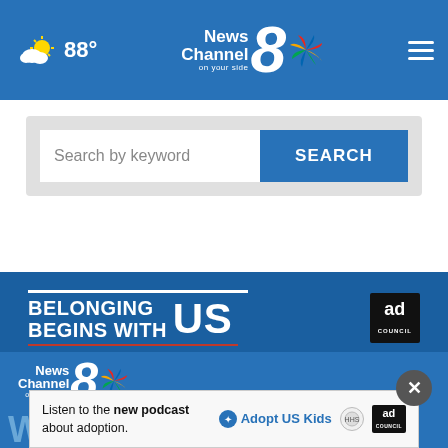[Figure (screenshot): NewsChannel 8 website header with weather showing 88°, NBC NewsChannel 8 'on your side' logo, and hamburger menu icon]
[Figure (screenshot): Search bar with placeholder text 'Search by keyword' and blue SEARCH button]
[Figure (screenshot): Ad Council banner: 'BELONGING BEGINS WITH US' with red underline and ad council badge]
[Figure (screenshot): NewsChannel 8 footer logo with NBC peacock colors on blue background]
[Figure (screenshot): Close (X) button overlay and bottom ad: 'Listen to the new podcast about adoption.' with Adopt US Kids logo, government icon, and ad council badge]